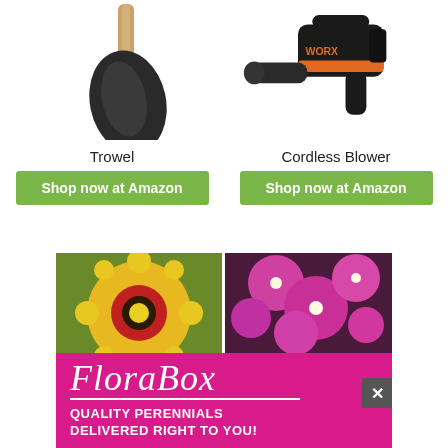[Figure (photo): Garden trowel with wooden handle and black metal scoop head, shown on white background]
[Figure (photo): Worx cordless leaf blower in black and orange, shown on white background]
Trowel
Shop now at Amazon
Cordless Blower
Shop now at Amazon
[Figure (photo): FloraBox advertisement banner showing colorful perennial flowers (gaillardia and pink asters) with the text 'FloraBox Quality Perennials Delivered Right To You!' on a magenta background]